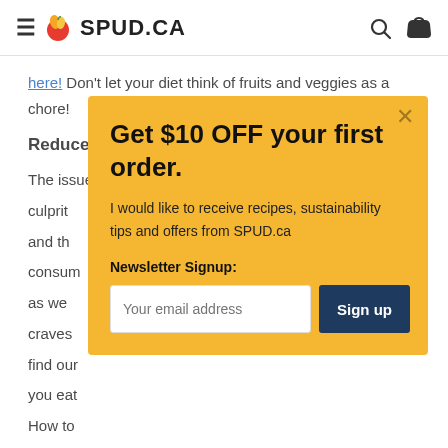SPUD.CA
Don't let your diet think of fruits and veggies as a chore!
Reduce your sugar intake
The issue: You're addicted to sugar. Sugar is often the culprit and the consum as we craves find our you eat How to
Get $10 OFF your first order. I would like to receive recipes, sustainability tips and offers from SPUD.ca Newsletter Signup: Your email address Sign up